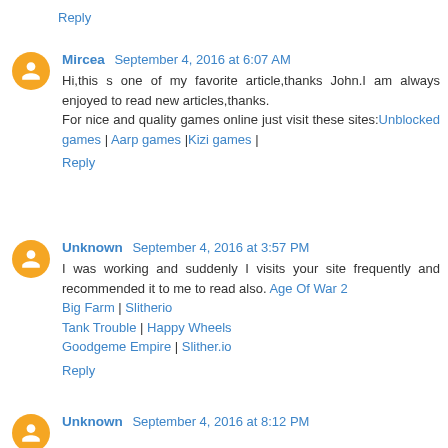Reply
Mircea  September 4, 2016 at 6:07 AM
Hi,this s one of my favorite article,thanks John.I am always enjoyed to read new articles,thanks.
For nice and quality games online just visit these sites:Unblocked games | Aarp games |Kizi games |
Reply
Unknown  September 4, 2016 at 3:57 PM
I was working and suddenly I visits your site frequently and recommended it to me to read also. Age Of War 2
Big Farm | Slitherio
Tank Trouble | Happy Wheels
Goodgeme Empire | Slither.io
Reply
Unknown  September 4, 2016 at 8:12 PM